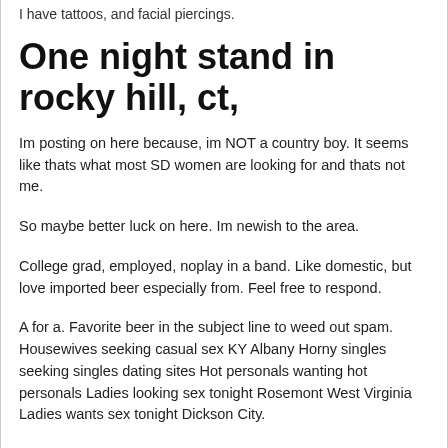I have tattoos, and facial piercings.
One night stand in rocky hill, ct,
Im posting on here because, im NOT a country boy. It seems like thats what most SD women are looking for and thats not me.
So maybe better luck on here. Im newish to the area.
College grad, employed, noplay in a band. Like domestic, but love imported beer especially from. Feel free to respond.
A for a. Favorite beer in the subject line to weed out spam. Housewives seeking casual sex KY Albany Horny singles seeking singles dating sites Hot personals wanting hot personals Ladies looking sex tonight Rosemont West Virginia Ladies wants sex tonight Dickson City.